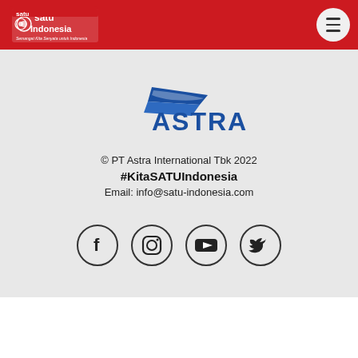[Figure (logo): Satu Indonesia logo with red and white flag design on red header bar]
[Figure (logo): Astra International logo - blue arrow/wing shape with ASTRA text in blue]
© PT Astra International Tbk 2022
#KitaSATUIndonesia
Email: info@satu-indonesia.com
[Figure (infographic): Four social media icons in circles: Facebook, Instagram, YouTube, Twitter]